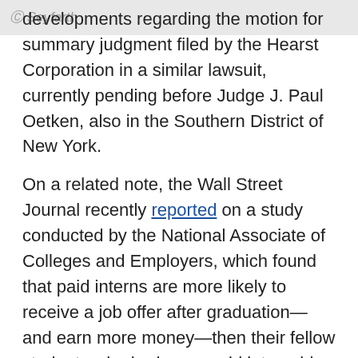Seyfarth
developments regarding the motion for summary judgment filed by the Hearst Corporation in a similar lawsuit, currently pending before Judge J. Paul Oetken, also in the Southern District of New York.
On a related note, the Wall Street Journal recently reported on a study conducted by the National Associate of Colleges and Employers, which found that paid interns are more likely to receive a job offer after graduation—and earn more money—then their fellow students who had an unpaid internship. The article also discusses important issues regarding income inequality and diversity between paid and unpaid interns, and employers may be well-served by reviewing the cited data when contemplating whether to offer paid or unpaid internship programs.